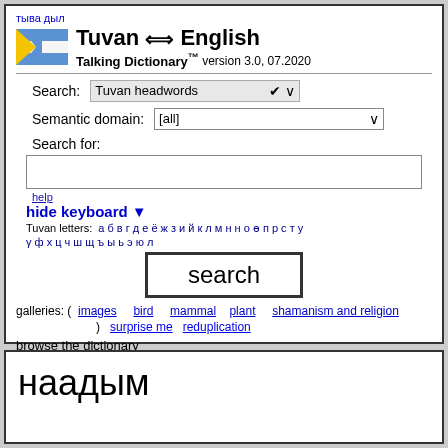тыва дыл
Tuvan ⟺ English Talking Dictionary™ version 3.0, 07.2020
Search: Tuvan headwords
Semantic domain: [all]
Search for:
help
hide keyboard ▼
Tuvan letters: а б в г д е ё ж з и й к л м н н о ө п р с т у
γ ф х ц ч ш щ ъ ы ь э ю л
search
galleries: ( images   bird   mammal   plant   shamanism and religion
)   surprise me   reduplication
browse the dictionary
а б в г д е ж з и й к л М Н О ө п р с т у Ү ф х ц
наадым